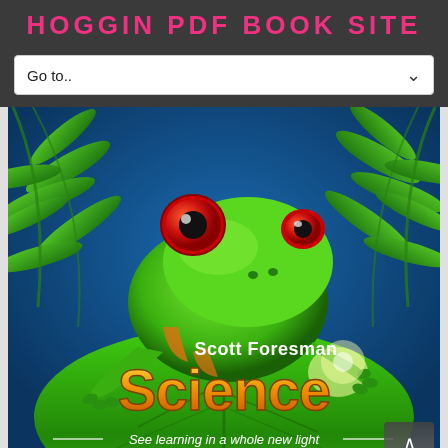HOGGIN PDF BOOK SITE
Go to..
[Figure (photo): Book cover of Scott Foresman Science textbook featuring a red-eyed green tree frog on a green leaf background with ferns. Text reads 'Scott Foresman Science — See learning in a whole new light']
Scott Foresman Science Grade 2 Indiana Edtion pdf epub